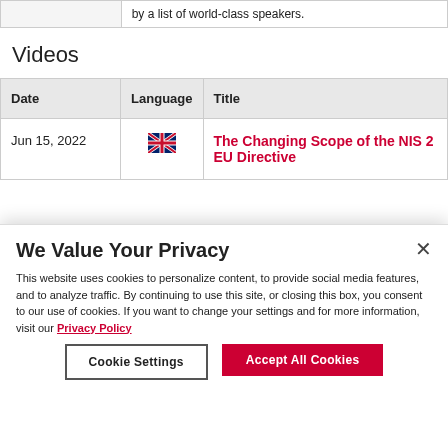|  |  |
| --- | --- |
|  | by a list of world-class speakers. |
Videos
| Date | Language | Title |
| --- | --- | --- |
| Jun 15, 2022 | [UK flag] | The Changing Scope of the NIS 2 EU Directive |
We Value Your Privacy
This website uses cookies to personalize content, to provide social media features, and to analyze traffic. By continuing to use this site, or closing this box, you consent to our use of cookies. If you want to change your settings and for more information, visit our Privacy Policy
Cookie Settings
Accept All Cookies